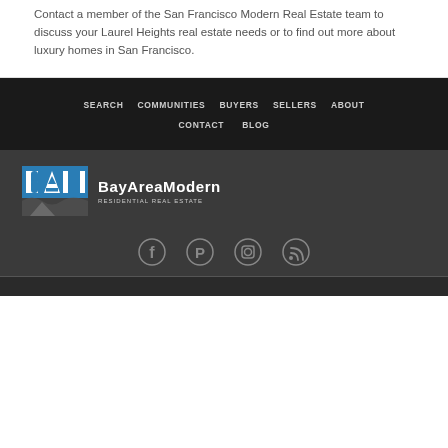Contact a member of the San Francisco Modern Real Estate team to discuss your Laurel Heights real estate needs or to find out more about luxury homes in San Francisco.
SEARCH   COMMUNITIES   BUYERS   SELLERS   ABOUT   CONTACT   BLOG
[Figure (logo): Bay Area Modern Residential Real Estate logo with BAM abbreviation icon]
[Figure (infographic): Social media icons: Facebook, Pinterest, Instagram, RSS feed]